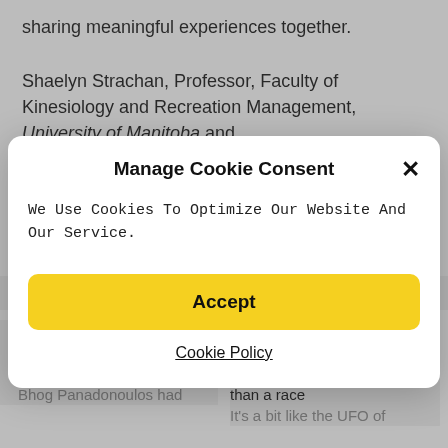sharing meaningful experiences together.
Shaelyn Strachan, Professor, Faculty of Kinesiology and Recreation Management, University of Manitoba and [partially obscured text]
Manage Cookie Consent
We Use Cookies To Optimize Our Website And Our Service.
Accept
Cookie Policy
Related
How college students bring gender equality to a 60-year-old sport called Inward Bound
Bhog Panadonoulos had
Death of a trail runner during the UTMB: the PTL, a committed adventure more than a race
It's a bit like the UFO of